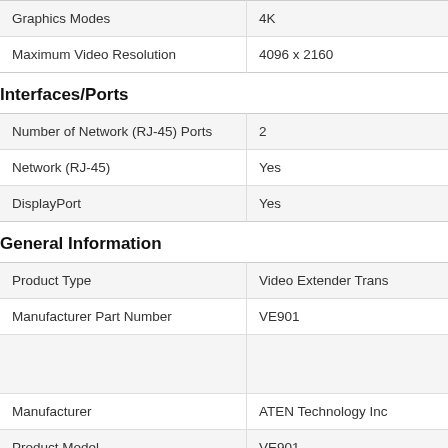|  |  |
| --- | --- |
| Graphics Modes | 4K |
| Maximum Video Resolution | 4096 x 2160 |
Interfaces/Ports
|  |  |
| --- | --- |
| Number of Network (RJ-45) Ports | 2 |
| Network (RJ-45) | Yes |
| DisplayPort | Yes |
General Information
|  |  |
| --- | --- |
| Product Type | Video Extender Trans |
| Manufacturer Part Number | VE901 |
|  |  |
| Manufacturer | ATEN Technology Inc |
| Product Model | VE901 |